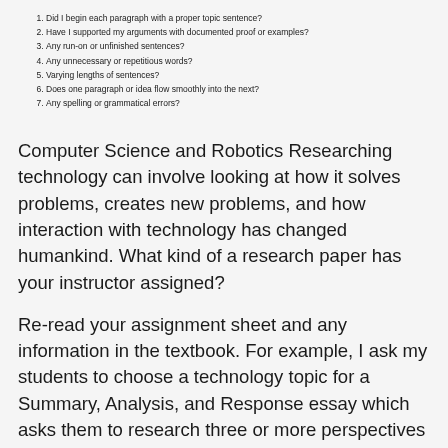Did I begin each paragraph with a proper topic sentence?
Have I supported my arguments with documented proof or examples?
Any run-on or unfinished sentences?
Any unnecessary or repetitious words?
Varying lengths of sentences?
Does one paragraph or idea flow smoothly into the next?
Any spelling or grammatical errors?
Computer Science and Robotics Researching technology can involve looking at how it solves problems, creates new problems, and how interaction with technology has changed humankind. What kind of a research paper has your instructor assigned?
Re-read your assignment sheet and any information in the textbook. For example, I ask my students to choose a technology topic for a Summary, Analysis, and Response essay which asks them to research three or more perspectives on an issue.